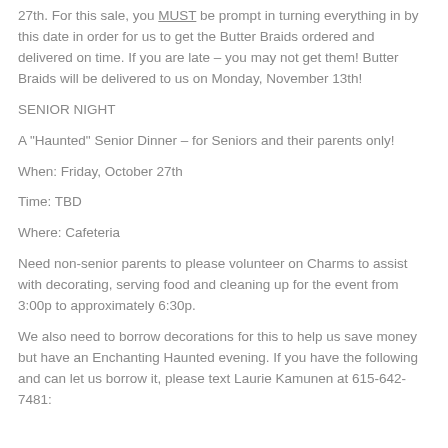27th.  For this sale, you MUST be prompt in turning everything in by this date in order for us to get the Butter Braids ordered and delivered on time.  If you are late – you may not get them!  Butter Braids will be delivered to us on Monday, November 13th!
SENIOR NIGHT
A "Haunted" Senior Dinner – for Seniors and their parents only!
When: Friday, October 27th
Time: TBD
Where: Cafeteria
Need non-senior parents to please volunteer on Charms to assist with decorating, serving food and cleaning up for the event from 3:00p to approximately 6:30p.
We also need to borrow decorations for this to help us save money but have an Enchanting Haunted evening.  If you have the following and can let us borrow it, please text Laurie Kamunen at 615-642-7481: